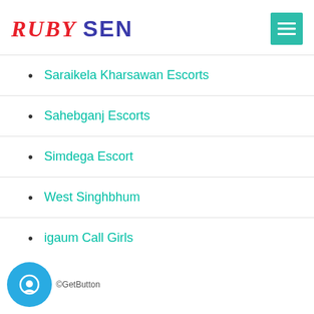RUBY SEN
Saraikela Kharsawan Escorts
Sahebganj Escorts
Simdega Escort
West Singhbhum
igaum Call Girls